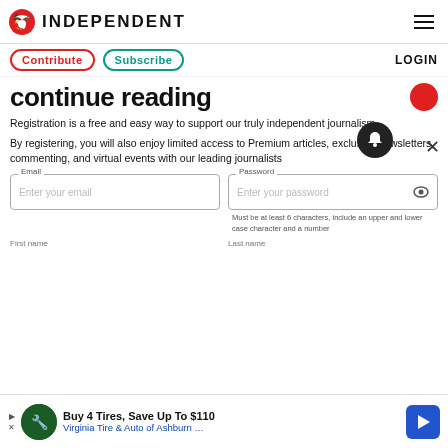INDEPENDENT
Contribute   Subscribe   LOGIN
continue reading
Registration is a free and easy way to support our truly independent journalism
By registering, you will also enjoy limited access to Premium articles, exclusive newsletters, commenting, and virtual events with our leading journalists
Email  Enter your email
Password  Enter your password
Must be at least 6 characters, include an upper and lower case character and a number
First name   Last name
[Figure (infographic): Advertisement banner: Buy 4 Tires, Save Up To $110 — Virginia Tire & Auto of Ashburn]